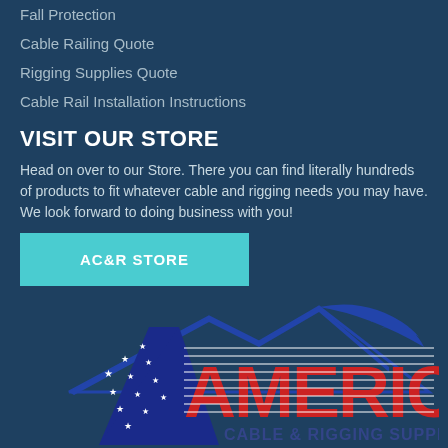Fall Protection
Cable Railing Quote
Rigging Supplies Quote
Cable Rail Installation Instructions
VISIT OUR STORE
Head on over to our Store. There you can find literally hundreds of products to fit whatever cable and rigging needs you may have. We look forward to doing business with you!
AC&R STORE
[Figure (logo): American Cable & Rigging Supply logo with letter A decorated with stars and stripes, red striped AMERICAN text, mountain/roofline graphic in blue, and subtitle CABLE & RIGGING SUPPLY]